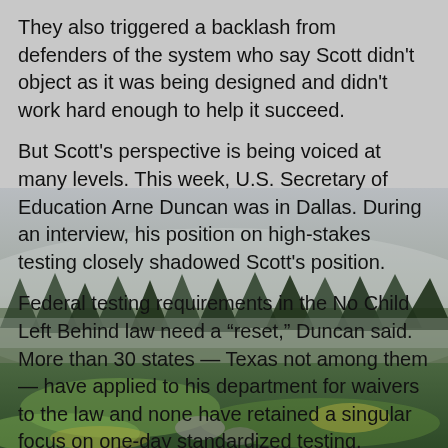They also triggered a backlash from defenders of the system who say Scott didn't object as it was being designed and didn't work hard enough to help it succeed.
But Scott's perspective is being voiced at many levels. This week, U.S. Secretary of Education Arne Duncan was in Dallas. During an interview, his position on high-stakes testing closely shadowed Scott's position.
Federal testing requirements in the No Child Left Behind law need a “reset,” Duncan said. More than 30 states — Texas not among them — have applied to his department for waivers to the law and none have retained a singular focus on one-day standardized testing.
“Test scores can be a part of what you’re looking at, but should not be the fixation,” Duncan said.
His objections
[Figure (photo): Landscape photo of foggy mountain scene with evergreen trees and green meadow in foreground, misty grey sky above.]
In Texas, Scott’s critique has become a rallying point in preparation for next year’s legislative session — that’s where